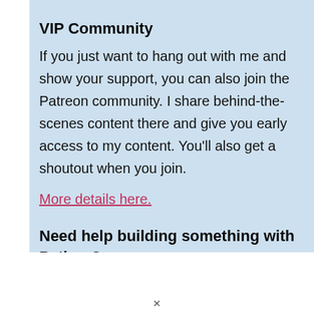VIP Community
If you just want to hang out with me and show your support, you can also join the Patreon community. I share behind-the-scenes content there and give you early access to my content. You'll also get a shoutout when you join.
More details here.
Need help building something with Python?